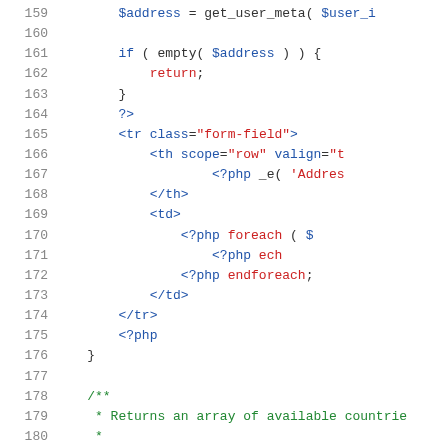[Figure (screenshot): PHP and HTML source code snippet, lines 159-181, showing code with syntax highlighting. Blue keywords for PHP tags and HTML attributes, red for return/foreach/endforeach/string values, green for comments.]